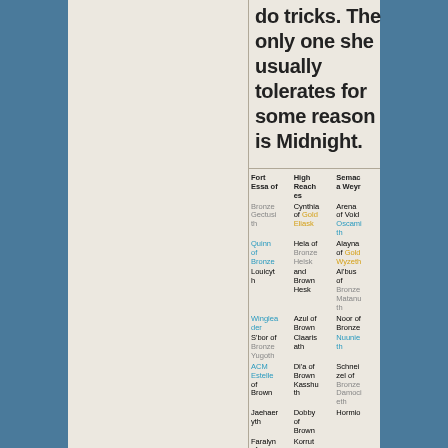do tricks. The only one she usually tolerates for some reason is Midnight.
| Fort Essa | High Reaches | Semaca Weyr |
| --- | --- | --- |
| of Bronze Gectusith | Cynthia of Gold Eliask | Arena of Void Oscamith |
| Quinn of Bronze | Hela of Bronze Helsk | Alayna of Gold Wyzeth |
| Louicyth | and Brown Hesk | Al'bus of Bronze Matanuth |
| Winglea der | Azul of Brown | Noor of Bronze |
| S'bor of Bronze Yugoth | Claaris ath | Nuunieth |
| ACM Estelle of Brown | Di'a of Brown Kasshu th | Schnei zel of Bronze Damoci eth |
| Jaehaer yth | Dobby of Brown | Hormio |
| Faralyn of | Korrut |  |